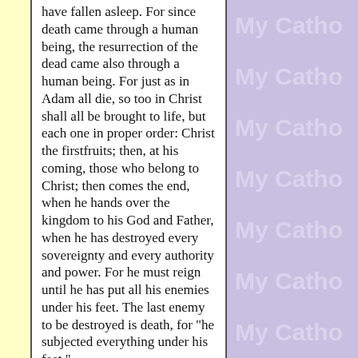have fallen asleep. For since death came through a human being, the resurrection of the dead came also through a human being. For just as in Adam all die, so too in Christ shall all be brought to life, but each one in proper order: Christ the firstfruits; then, at his coming, those who belong to Christ; then comes the end, when he hands over the kingdom to his God and Father, when he has destroyed every sovereignty and every authority and power. For he must reign until he has put all his enemies under his feet. The last enemy to be destroyed is death, for "he subjected everything under his feet."... Others in order will...